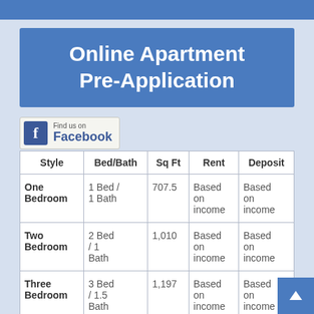Online Apartment Pre-Application
[Figure (logo): Find us on Facebook badge with Facebook logo icon]
| Style | Bed/Bath | Sq Ft | Rent | Deposit |
| --- | --- | --- | --- | --- |
| One Bedroom | 1 Bed / 1 Bath | 707.5 | Based on income | Based on income |
| Two Bedroom | 2 Bed / 1 Bath | 1,010 | Based on income | Based on income |
| Three Bedroom | 3 Bed / 1.5 Bath | 1,197 | Based on income | Based on income |